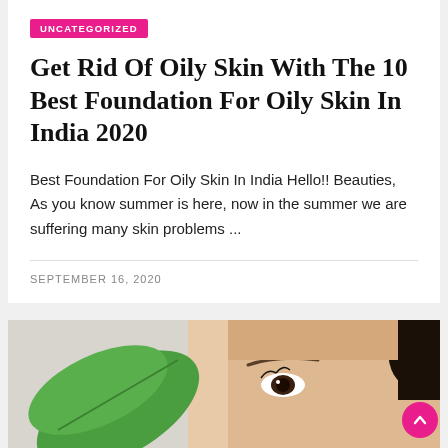UNCATEGORIZED
Get Rid Of Oily Skin With The 10 Best Foundation For Oily Skin In India 2020
Best Foundation For Oily Skin In India Hello!! Beauties,  As you know summer is here, now in the summer we are suffering many skin problems ...
SEPTEMBER 16, 2020
[Figure (photo): Photo of a woman's face with green leaves, partial view from forehead to upper nose area]